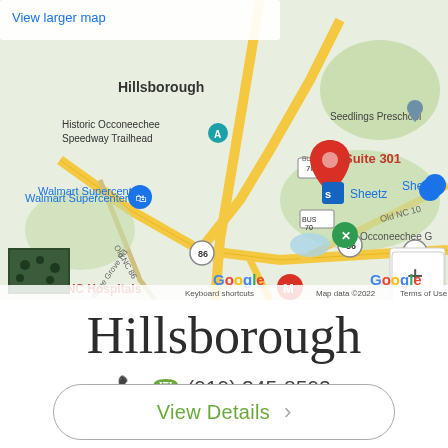[Figure (map): Google Map screenshot showing Hillsborough, NC area with a red pin marker labeled 'Suite 301'. Landmarks visible include Historic Occoneechee Speedway Trailhead, Seedlings Preschool, Walmart Supercenter, Sheetz, UNC Hospitals, and roads including Old NC 10, Old NC 86, and highway 70. Map zoom controls (+/-) visible in bottom right. Google branding visible at bottom.]
Hillsborough
(919) 245-8592
View Details